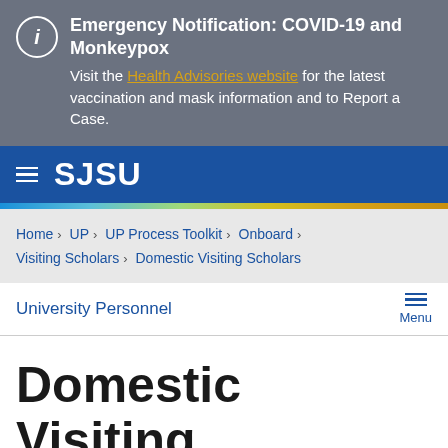Emergency Notification: COVID-19 and Monkeypox. Visit the Health Advisories website for the latest vaccination and mask information and to Report a Case.
SJSU
Home > UP > UP Process Toolkit > Onboard > Visiting Scholars > Domestic Visiting Scholars
University Personnel
Domestic Visiting Scholars